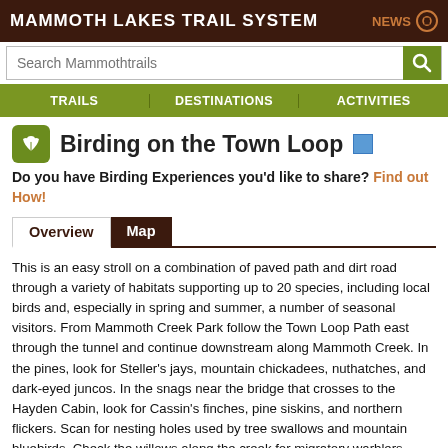MAMMOTH LAKES TRAIL SYSTEM
Birding on the Town Loop
Do you have Birding Experiences you'd like to share? Find out How!
This is an easy stroll on a combination of paved path and dirt road through a variety of habitats supporting up to 20 species, including local birds and, especially in spring and summer, a number of seasonal visitors. From Mammoth Creek Park follow the Town Loop Path east through the tunnel and continue downstream along Mammoth Creek. In the pines, look for Steller's jays, mountain chickadees, nuthatches, and dark-eyed juncos. In the snags near the bridge that crosses to the Hayden Cabin, look for Cassin's finches, pine siskins, and northern flickers. Scan for nesting holes used by tree swallows and mountain bluebirds. Check the willows along the creek for migratory warblers. When you come to the dirt road, leave the path and follow the road, staying along the creek. The open Great Basin... [+] more